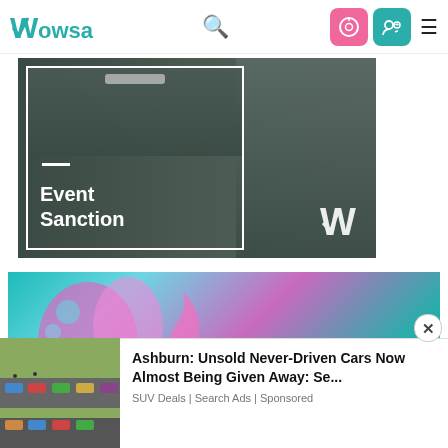Wowsa — navigation bar with logo, search, login and menu icons
[Figure (photo): Event Sanction banner image showing swimmers at a pool start, dark teal/grey background, white border on left panel, white dash, bold white text 'Event Sanction', Wowsa W logo bottom right]
[Figure (illustration): Colorful abstract ad banner with teal, pink, and purple swirling shapes]
[Figure (photo): Car lot aerial photo showing many parked cars and traffic]
Ashburn: Unsold Never-Driven Cars Now Almost Being Given Away: Se...
SUV Deals | Search Ads | Sponsored